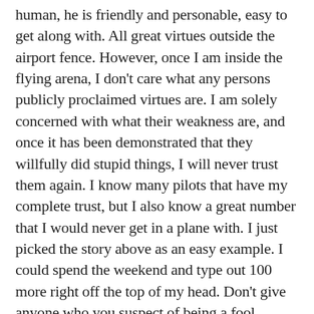human, he is friendly and personable, easy to get along with. All great virtues outside the airport fence.  However, once I am inside the flying arena, I don't care what any persons publicly proclaimed virtues are. I am solely concerned with what their weakness are, and once it has been demonstrated that they willfully did stupid things, I will never trust them again. I know many pilots that have my complete trust, but I also know a great number that I would never get in a plane with.  I just picked the story above as an easy example. I could spend the weekend and type out 100 more right off the top of my head. Don't give anyone who you suspect of being a fool, cheap, a show-off or a corner cutter the benefit of the doubt. Stay away from them, find better people.